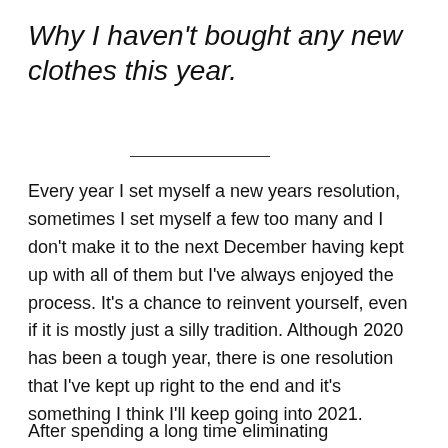Why I haven't bought any new clothes this year.
Every year I set myself a new years resolution, sometimes I set myself a few too many and I don't make it to the next December having kept up with all of them but I've always enjoyed the process. It's a chance to reinvent yourself, even if it is mostly just a silly tradition. Although 2020 has been a tough year, there is one resolution that I've kept up right to the end and it's something I think I'll keep going into 2021.
After spending a long time eliminating